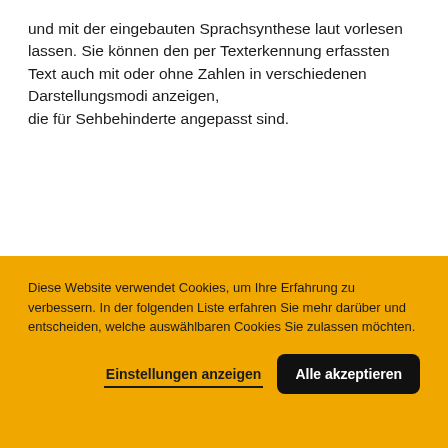und mit der eingebauten Sprachsynthese laut vorlesen lassen. Sie können den per Texterkennung erfassten Text auch mit oder ohne Zahlen in verschiedenen Darstellungsmodi anzeigen, die für Sehbehinderte angepasst sind.
Fragen oder Bestellung?
052 202 96 16
Angebot
Diese Website verwendet Cookies, um Ihre Erfahrung zu verbessern. In der folgenden Liste erfahren Sie mehr darüber und entscheiden, welche auswählbaren Cookies Sie zulassen möchten.
Einstellungen anzeigen
Alle akzeptieren